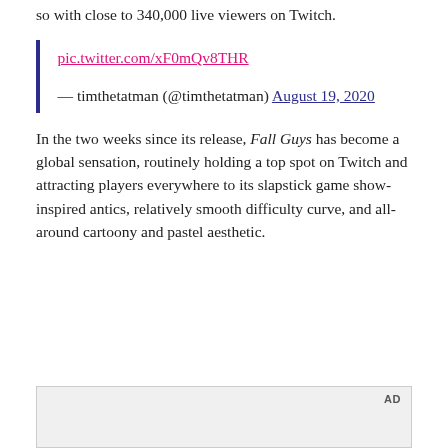so with close to 340,000 live viewers on Twitch.
pic.twitter.com/xF0mQv8THR

— timthetatman (@timthetatman) August 19, 2020
In the two weeks since its release, Fall Guys has become a global sensation, routinely holding a top spot on Twitch and attracting players everywhere to its slapstick game show-inspired antics, relatively smooth difficulty curve, and all-around cartoony and pastel aesthetic.
[Figure (other): AD placeholder box]